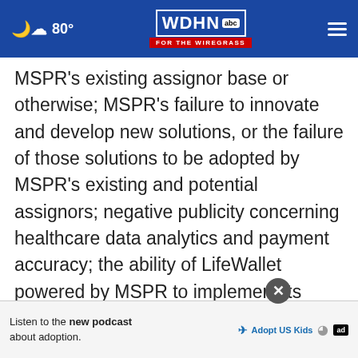80° WDHN abc FOR THE WIREGRASS
MSPR’s existing assignor base or otherwise; MSPR’s failure to innovate and develop new solutions, or the failure of those solutions to be adopted by MSPR’s existing and potential assignors; negative publicity concerning healthcare data analytics and payment accuracy; the ability of LifeWallet powered by MSPR to implement its Health Safety Technology and school security technology, and those [partial] annual repo[rt...]
[Figure (screenshot): Advertisement banner: 'Listen to the new podcast about adoption.' with Adopt US Kids logo and ad badge]